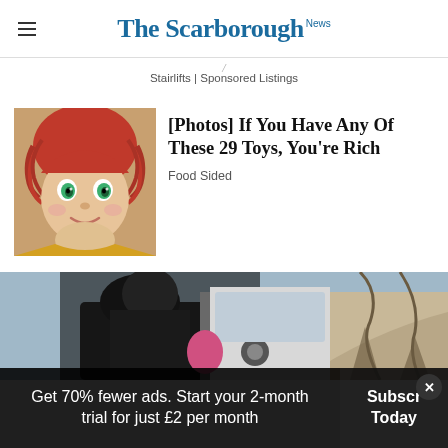The Scarborough News
Stairlifts | Sponsored Listings
[Figure (photo): Cabbage Patch doll with red yarn hair and green eyes]
[Photos] If You Have Any Of These 29 Toys, You're Rich
Food Sided
[Figure (photo): Person in dark clothing near a vehicle, outdoor winter scene]
Get 70% fewer ads. Start your 2-month trial for just £2 per month
Subscribe Today